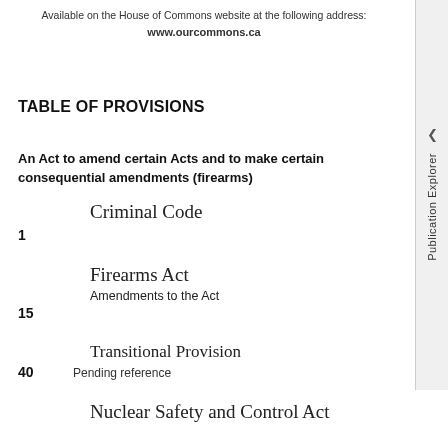Available on the House of Commons website at the following address:
www.ourcommons.ca
TABLE OF PROVISIONS
An Act to amend certain Acts and to make certain consequential amendments (firearms)
Criminal Code
1
Firearms Act
Amendments to the Act
15
Transitional Provision
40   Pending reference
Nuclear Safety and Control Act